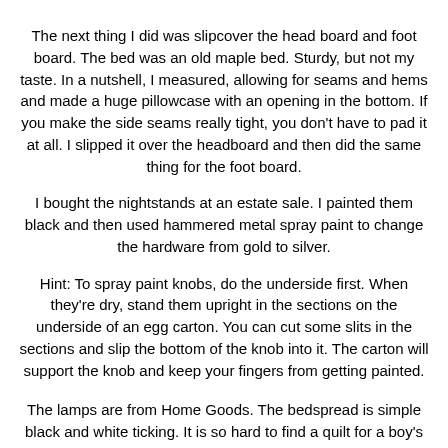The next thing I did was slipcover the head board and foot board. The bed was an old maple bed. Sturdy, but not my taste. In a nutshell, I measured, allowing for seams and hems and made a huge pillowcase with an opening in the bottom. If you make the side seams really tight, you don't have to pad it at all. I slipped it over the headboard and then did the same thing for the foot board. I bought the nightstands at an estate sale. I painted them black and then used hammered metal spray paint to change the hardware from gold to silver. Hint: To spray paint knobs, do the underside first. When they're dry, stand them upright in the sections on the underside of an egg carton. You can cut some slits in the sections and slip the bottom of the knob into it. The carton will support the knob and keep your fingers from getting painted.
The lamps are from Home Goods. The bedspread is simple black and white ticking. It is so hard to find a quilt for a boy's room. I'm still on the hunt. But for now, this works.